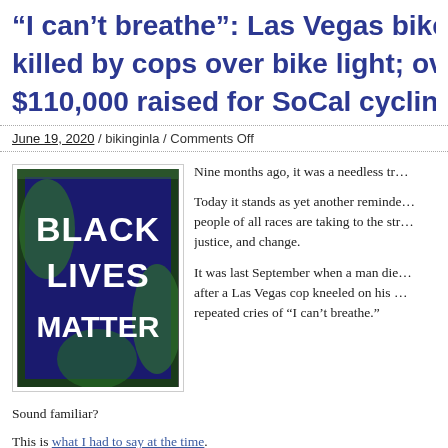“I can’t breathe”: Las Vegas bike killed by cops over bike light; over $110,000 raised for SoCal cycling
June 19, 2020 / bikinginla / Comments Off
[Figure (photo): Photo of a hand-painted Black Lives Matter sign in green and dark blue, with white text reading BLACK LIVES MATTER, hung on a metal fence outside a building.]
Nine months ago, it was a needless tr-
Today it stands as yet another reminder people of all races are taking to the str- justice, and change.
It was last September when a man die- after a Las Vegas cop kneeled on his repeated cries of “I can’t breathe.”
Sound familiar?
This is what I had to say at the time.
Once again, a man has died at the hands of police fo-